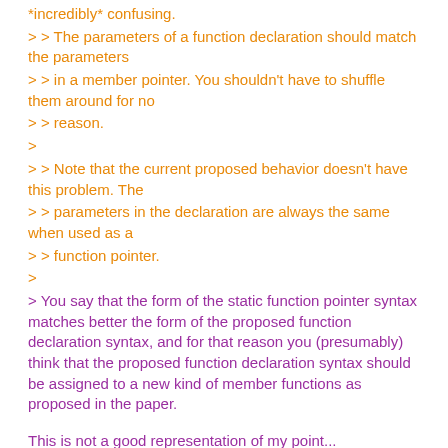*incredibly* confusing.
> > The parameters of a function declaration should match the parameters
> > in a member pointer. You shouldn't have to shuffle them around for no
> > reason.
>
> > Note that the current proposed behavior doesn't have this problem. The
> > parameters in the declaration are always the same when used as a
> > function pointer.
>
> You say that the form of the static function pointer syntax matches better the form of the proposed function declaration syntax, and for that reason you (presumably) think that the proposed function declaration syntax should be assigned to a new kind of member functions as proposed in the paper.
This is not a good representation of my point...